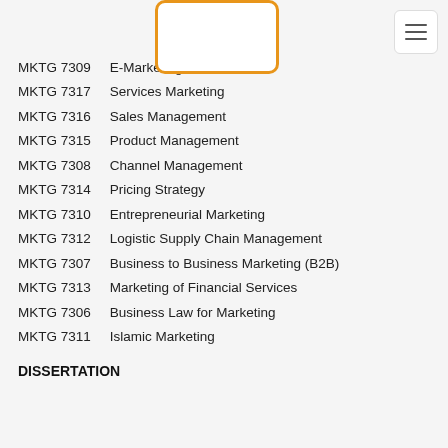MKTG 7309  E-Marketing
MKTG 7317  Services Marketing
MKTG 7316  Sales Management
MKTG 7315  Product Management
MKTG 7308  Channel Management
MKTG 7314  Pricing Strategy
MKTG 7310  Entrepreneurial Marketing
MKTG 7312  Logistic Supply Chain Management
MKTG 7307  Business to Business Marketing (B2B)
MKTG 7313  Marketing of Financial Services
MKTG 7306  Business Law for Marketing
MKTG 7311  Islamic Marketing
DISSERTATION